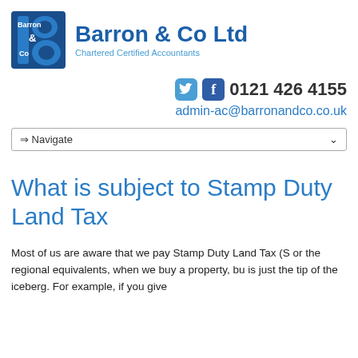[Figure (logo): Barron & Co Ltd logo — blue stylized letter B with ampersand, next to company name 'Barron & Co Ltd' and subtitle 'Chartered Certified Accountants']
0121 426 4155  admin-ac@barronandco.co.uk
⇒ Navigate
What is subject to Stamp Duty Land Tax
Most of us are aware that we pay Stamp Duty Land Tax (S or the regional equivalents, when we buy a property, bu is just the tip of the iceberg. For example, if you give